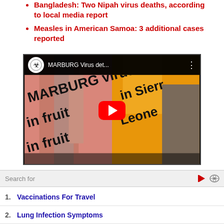Bangladesh: Two Nipah virus deaths, according to local media report
Measles in American Samoa: 3 additional cases reported
[Figure (screenshot): YouTube video thumbnail showing MARBURG virus text overlaid on fruit and bat images, with title 'MARBURG Virus det...' and a biohazard icon]
Search for
1. Vaccinations For Travel
2. Lung Infection Symptoms